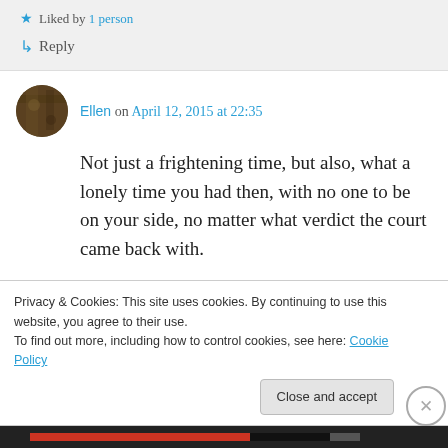★ Liked by 1 person
↳ Reply
Ellen on April 12, 2015 at 22:35
Not just a frightening time, but also, what a lonely time you had then, with no one to be on your side, no matter what verdict the court came back with.
Privacy & Cookies: This site uses cookies. By continuing to use this website, you agree to their use.
To find out more, including how to control cookies, see here: Cookie Policy